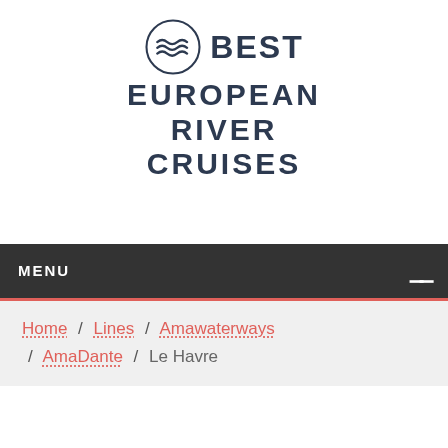[Figure (logo): Best European River Cruises logo: circular emblem with three wavy lines and text 'BEST EUROPEAN RIVER CRUISES']
BEST EUROPEAN RIVER CRUISES
MENU ≡
Home / Lines / Amawaterways / AmaDante / Le Havre